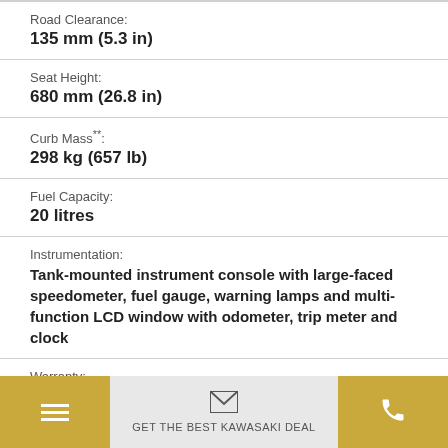Road Clearance:
135 mm (5.3 in)
Seat Height:
680 mm (26.8 in)
Curb Mass**:
298 kg (657 lb)
Fuel Capacity:
20 litres
Instrumentation:
Tank-mounted instrument console with large-faced speedometer, fuel gauge, warning lamps and multi-function LCD window with odometer, trip meter and clock
Warranty:
12 months
GET THE BEST KAWASAKI DEAL